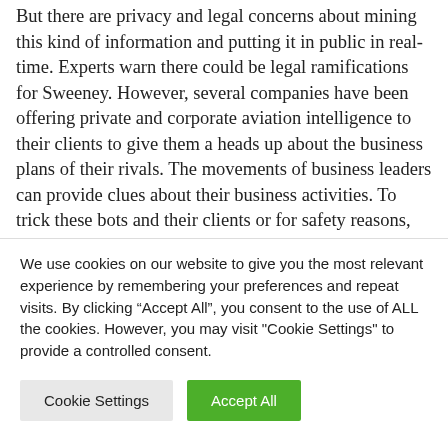But there are privacy and legal concerns about mining this kind of information and putting it in public in real-time. Experts warn there could be legal ramifications for Sweeney. However, several companies have been offering private and corporate aviation intelligence to their clients to give them a heads up about the business plans of their rivals. The movements of business leaders can provide clues about their business activities. To trick these bots and their clients or for safety reasons, some business leaders sometimes send their jets without them.
We use cookies on our website to give you the most relevant experience by remembering your preferences and repeat visits. By clicking “Accept All”, you consent to the use of ALL the cookies. However, you may visit "Cookie Settings" to provide a controlled consent.